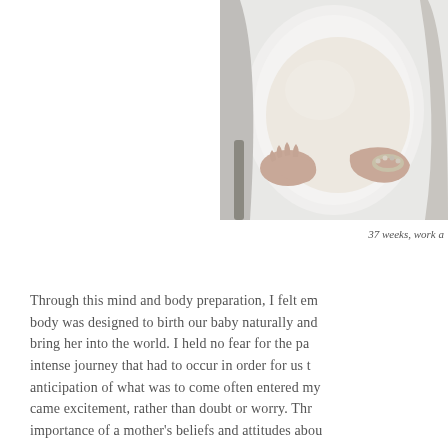[Figure (photo): Pregnant woman in white dress holding her belly at 37 weeks, photographed from torso down, wearing a bracelet]
37 weeks, work a
Through this mind and body preparation, I felt em body was designed to birth our baby naturally and bring her into the world. I held no fear for the pa intense journey that had to occur in order for us t anticipation of what was to come often entered my came excitement, rather than doubt or worry. Thr importance of a mother's beliefs and attitudes abou